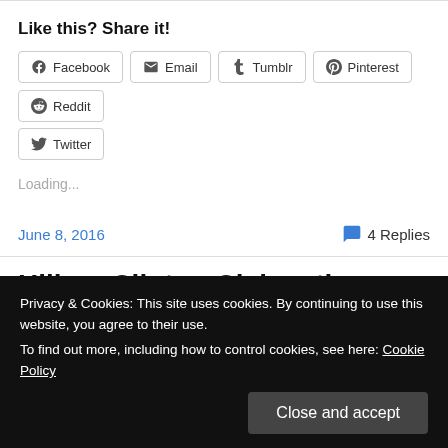Like this? Share it!
[Figure (screenshot): Row of social share buttons: Facebook, Email, Tumblr, Pinterest, Reddit, Twitter]
Loading...
June 8, 2016
4 Replies
Hillary Clinton Claims the
Monday night moving her delegate count to 2364 and
Privacy & Cookies: This site uses cookies. By continuing to use this website, you agree to their use.
To find out more, including how to control cookies, see here: Cookie Policy
Close and accept